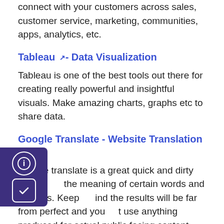connect with your customers across sales, customer service, marketing, communities, apps, analytics, etc.
Tableau ⊞- Data Visualization
Tableau is one of the best tools out there for creating really powerful and insightful visuals. Make amazing charts, graphs etc to share data.
Google Translate - Website Translation ⊞
Google translate is a great quick and dirty way to the meaning of certain words and phrases. Keep ind the results will be far from perfect and you t use anything produced for actual public facing content until you have it properly reviewed by a person.
Google Dictate...